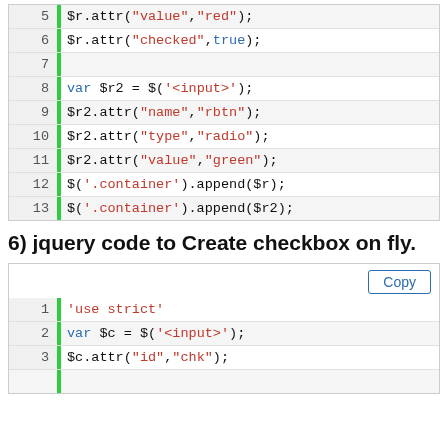| line | code |
| --- | --- |
| 5 | $r.attr("value","red"); |
| 6 | $r.attr("checked",true); |
| 7 |  |
| 8 | var $r2 = $('<input>'); |
| 9 | $r2.attr("name","rbtn"); |
| 10 | $r2.attr("type","radio"); |
| 11 | $r2.attr("value","green"); |
| 12 | $('.container').append($r); |
| 13 | $('.container').append($r2); |
6) jquery code to Create checkbox on fly.
| line | code |
| --- | --- |
| 1 | 'use strict' |
| 2 | var $c = $('<input>'); |
| 3 | $c.attr("id","chk"); |